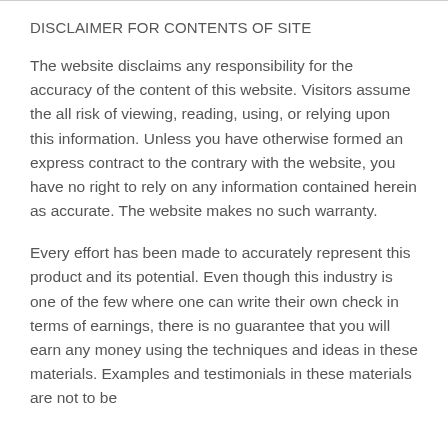DISCLAIMER FOR CONTENTS OF SITE
The website disclaims any responsibility for the accuracy of the content of this website. Visitors assume the all risk of viewing, reading, using, or relying upon this information. Unless you have otherwise formed an express contract to the contrary with the website, you have no right to rely on any information contained herein as accurate. The website makes no such warranty.
Every effort has been made to accurately represent this product and its potential. Even though this industry is one of the few where one can write their own check in terms of earnings, there is no guarantee that you will earn any money using the techniques and ideas in these materials. Examples and testimonials in these materials are not to be